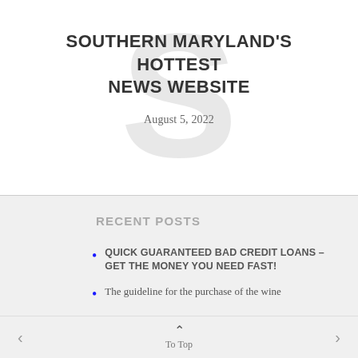SOUTHERN MARYLAND'S HOTTEST NEWS WEBSITE
August 5, 2022
RECENT POSTS
QUICK GUARANTEED BAD CREDIT LOANS – GET THE MONEY YOU NEED FAST!
The guideline for the purchase of the wine
Ordering Food Online – Learn more
‹  ∧ To Top  ›